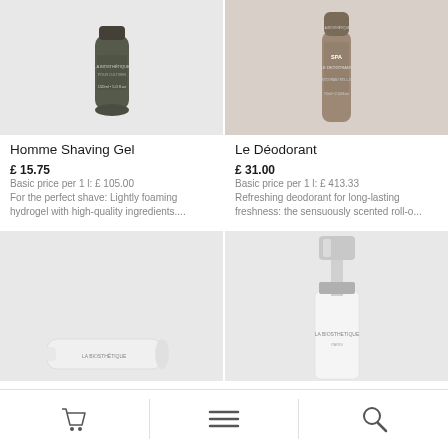[Figure (photo): Homme Shaving Gel product tube, dark gray/olive color, 150ml product]
[Figure (photo): Le Déodorant product bottle, brown/taupe color, 75ml, SPA Le Deodorant label]
Homme Shaving Gel
£ 15.75
Basic price per 1 l: £ 105.00
For the perfect shave: Lightly foaming hydrogel with high-quality ingredients....
Le Déodorant
£ 31.00
Basic price per 1 l: £ 413.33
Refreshing deodorant for long-lasting freshness: the sensuously scented roll-o...
[Figure (photo): La Biosthétique cream tube product, white packaging, partially visible]
[Figure (photo): La Biosthétique pump bottle product, white with silver/chrome pump top, partially visible]
Cart | Menu | Search